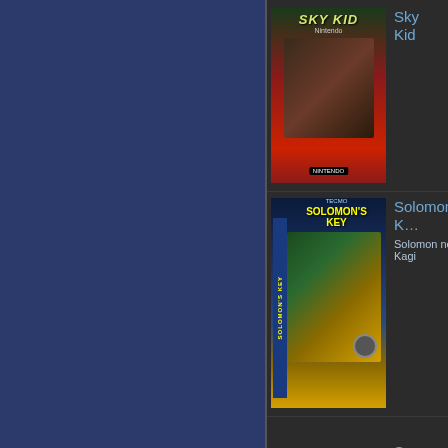[Figure (screenshot): Left navigation panel with dark blue/indigo background]
Sky Kid
Solomon's Key
Solomon no Kagi
Son Son
Space Hunt
Spellbound
Spy vs Spy